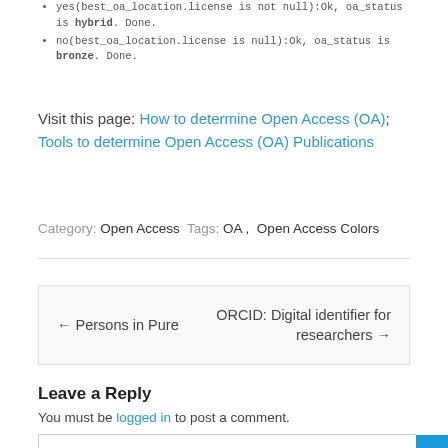yes(best_oa_location.license is not null):Ok, oa_status is hybrid. Done.
no(best_oa_location.license is null):Ok, oa_status is bronze. Done.
Visit this page: How to determine Open Access (OA); Tools to determine Open Access (OA) Publications
Category: Open Access  Tags: OA, Open Access Colors
← Persons in Pure   ORCID: Digital identifier for researchers →
Leave a Reply
You must be logged in to post a comment.